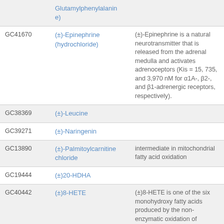| ID | Name | Description |
| --- | --- | --- |
|  | Glutamylphenylalanine) |  |
| GC41670 | (±)-Epinephrine (hydrochloride) | (±)-Epinephrine is a natural neurotransmitter that is released from the adrenal medulla and activates adrenoceptors (Kis = 15, 735, and 3,970 nM for α1A-, β2-, and β1-adrenergic receptors, respectively). |
| GC38369 | (±)-Leucine |  |
| GC39271 | (±)-Naringenin |  |
| GC13890 | (±)-Palmitoylcarnitine chloride | intermediate in mitochondrial fatty acid oxidation |
| GC19444 | (±)20-HDHA |  |
| GC40442 | (±)8-HETE | (±)8-HETE is one of the six monohydroxy fatty acids produced by the non-enzymatic oxidation of arachidonic acid. |
| GC30586 | (±) Anabasine |  |
| GC61647 | (+)-Longifolene |  |